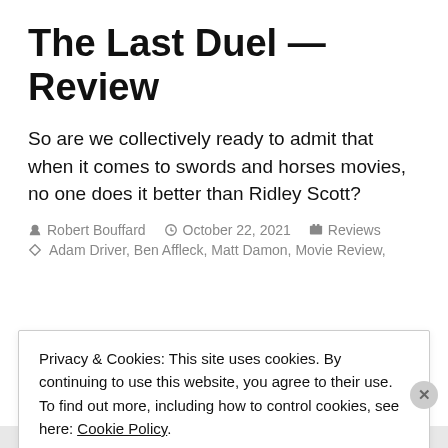The Last Duel – Review
So are we collectively ready to admit that when it comes to swords and horses movies, no one does it better than Ridley Scott?
Robert Bouffard  October 22, 2021  Reviews
Adam Driver, Ben Affleck, Matt Damon, Movie Review,
Privacy & Cookies: This site uses cookies. By continuing to use this website, you agree to their use.
To find out more, including how to control cookies, see here: Cookie Policy
Close and accept